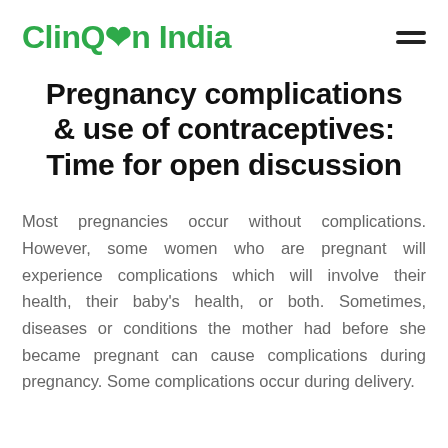ClinQon India
Pregnancy complications & use of contraceptives: Time for open discussion
Most pregnancies occur without complications. However, some women who are pregnant will experience complications which will involve their health, their baby's health, or both. Sometimes, diseases or conditions the mother had before she became pregnant can cause complications during pregnancy. Some complications occur during delivery.